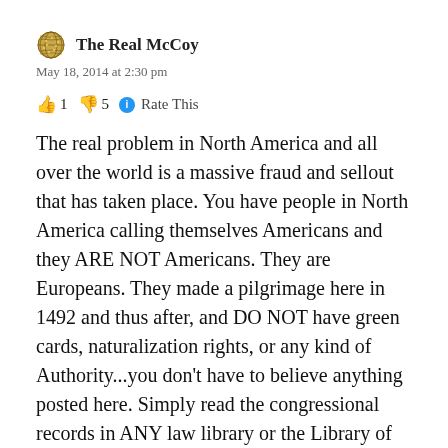The Real McCoy
May 18, 2014 at 2:30 pm
👍 1 👎 5 ℹ Rate This
The real problem in North America and all over the world is a massive fraud and sellout that has taken place. You have people in North America calling themselves Americans and they ARE NOT Americans. They are Europeans. They made a pilgrimage here in 1492 and thus after, and DO NOT have green cards, naturalization rights, or any kind of Authority...you don't have to believe anything posted here. Simply read the congressional records in ANY law library or the Library of Congress. The great divide was created to separate the original natural indiginous peoples thus division of power by calling and coining the terms Indians, native americans, negroes, blacks, african americans